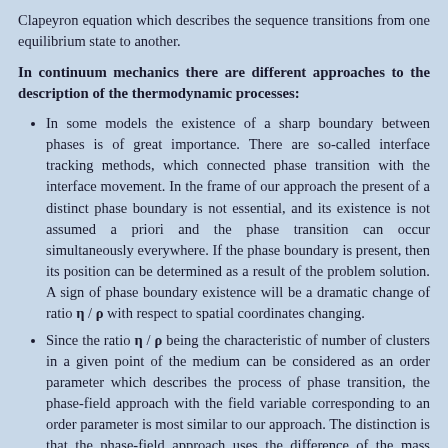Clapeyron equation which describes the sequence transitions from one equilibrium state to another.
In continuum mechanics there are different approaches to the description of the thermodynamic processes:
In some models the existence of a sharp boundary between phases is of great importance. There are so-called interface tracking methods, which connected phase transition with the interface movement. In the frame of our approach the present of a distinct phase boundary is not essential, and its existence is not assumed a priori and the phase transition can occur simultaneously everywhere. If the phase boundary is present, then its position can be determined as a result of the problem solution. A sign of phase boundary existence will be a dramatic change of ratio η / ρ with respect to spatial coordinates changing.
Since the ratio η / ρ being the characteristic of number of clusters in a given point of the medium can be considered as an order parameter which describes the process of phase transition, the phase-field approach with the field variable corresponding to an order parameter is most similar to our approach. The distinction is that the phase-field approach uses the difference of the mass densities as the order parameter for liquid/gas transitions. Another difference